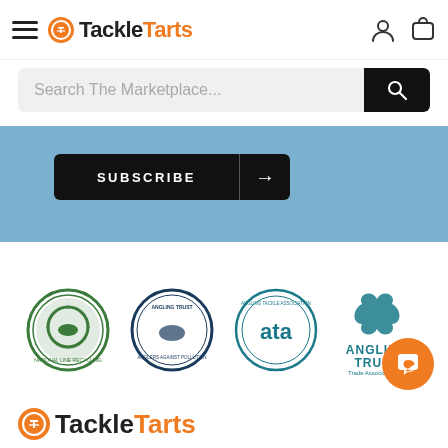TackleTarts – navigation header with hamburger menu, logo, user icon, and cart icon
Search The Marketplace...
SUBSCRIBE →
[Figure (logo): National Line Recycling Scheme logo – green circular badge with recycling arrow and fish]
[Figure (logo): Angling Trust Anglers Against Pollution logo – dark blue circular badge]
[Figure (logo): Angling Trade Association (ata) logo – teal circular badge]
[Figure (logo): Angling Trust Trade Associate 2021 logo – teal fish/swirl mark with text]
[Figure (logo): TackleTarts logo – orange gear icon with Tackle in dark and Tarts in orange]
[Figure (other): Orange chat/messaging bubble icon in bottom right corner]